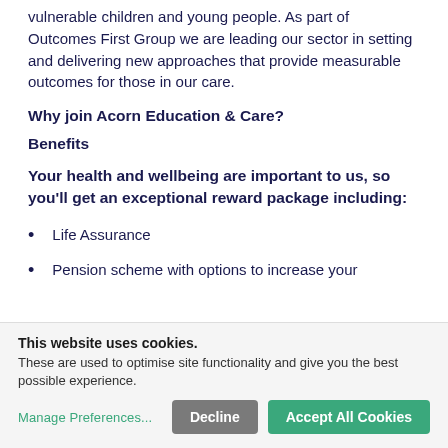vulnerable children and young people. As part of Outcomes First Group we are leading our sector in setting and delivering new approaches that provide measurable outcomes for those in our care.
Why join Acorn Education & Care?
Benefits
Your health and wellbeing are important to us, so you'll get an exceptional reward package including:
Life Assurance
Pension scheme with options to increase your
This website uses cookies. These are used to optimise site functionality and give you the best possible experience.
Manage Preferences...   Decline   Accept All Cookies